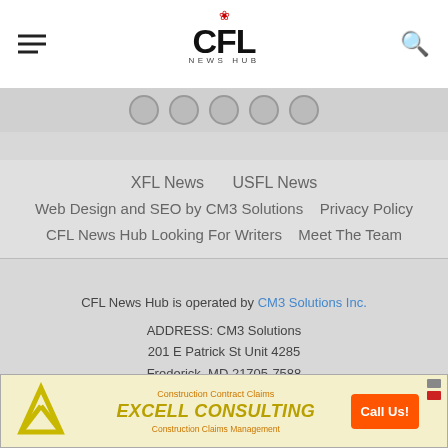CFL NEWS HUB
XFL News   USFL News   Web Design and SEO by CM3 Solutions   Privacy Policy   CFL News Hub Looking For Writers   Meet The Team
CFL News Hub is operated by CM3 Solutions Inc.
ADDRESS: CM3 Solutions
201 E Patrick St Unit 4285
Frederick, MD 21705-7588
PHONE: 888-430-7692
Contact us: info@cflnewshub.com
Copyright © 2021 CFL News Hub. All rights reserved. CFL News Hub is not associated or affiliated with ("CFL") Canadian Football League in any way.
[Figure (other): Advertisement banner for Excell Consulting showing company logo, text 'Construction Contract Claims', 'EXCELL CONSULTING', 'Construction Claims Management', and an orange 'Call Us!' button]